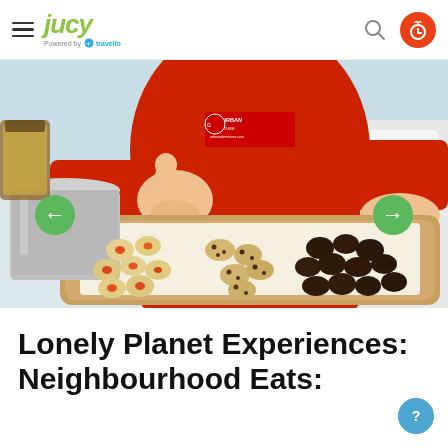JUCY — powered by travello
[Figure (photo): Person in red Urban Adventures t-shirt giving thumbs up while holding a wooden board with three types of cookies/biscuits — jam thumbprint cookies, chocolate chip cookies, and dark chocolate cookies — on parchment paper. A large stainless steel pot is visible to the left.]
Lonely Planet Experiences: Neighbourhood Eats: